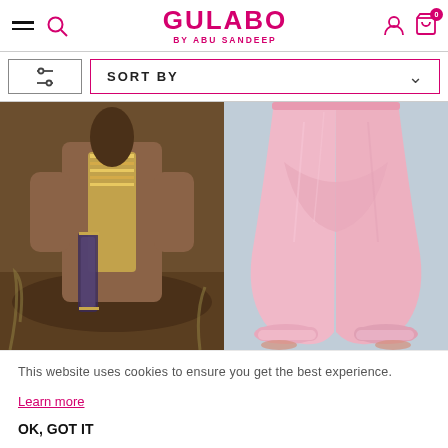GULABO BY ABU SANDEEP
[Figure (screenshot): Filter/sort controls: filter icon button and SORT BY dropdown]
[Figure (photo): Left product photo: person wearing a brown embroidered traditional Indian outfit with gold dupatta]
[Figure (photo): Right product photo: close-up of pink harem/salwar pants on a model]
This website uses cookies to ensure you get the best experience.
Learn more
OK, GOT IT